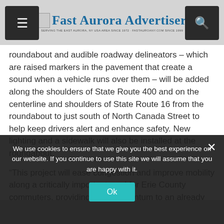Fast Aurora Advertiser — Serving the East Aurora, NY USA area since 1972 · Fastauroany.com since 1999
roundabout and audible roadway delineators – which are raised markers in the pavement that create a sound when a vehicle runs over them – will be added along the shoulders of State Route 400 and on the centerline and shoulders of State Route 16 from the roundabout to just south of North Canada Street to help keep drivers alert and enhance safety. New lighting and a sidewalk will also be installed at the roundabout.
“This project will ease congestion and improve mobility along a critically important road for Erie County commuters, providing new momentum to an already vibrant and bustling corridor,” Dominguez said in the news release.
We use cookies to ensure that we give you the best experience on our website. If you continue to use this site we will assume that you are happy with it.